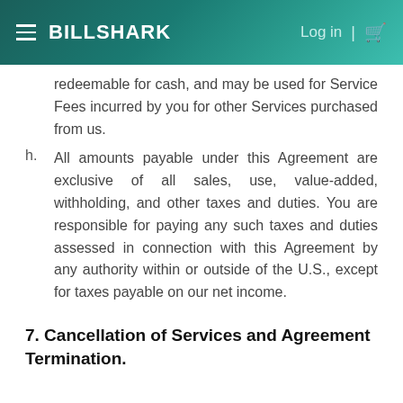BILLSHARK  Log in | [cart]
redeemable for cash, and may be used for Service Fees incurred by you for other Services purchased from us.
h. All amounts payable under this Agreement are exclusive of all sales, use, value-added, withholding, and other taxes and duties. You are responsible for paying any such taxes and duties assessed in connection with this Agreement by any authority within or outside of the U.S., except for taxes payable on our net income.
7. Cancellation of Services and Agreement Termination.